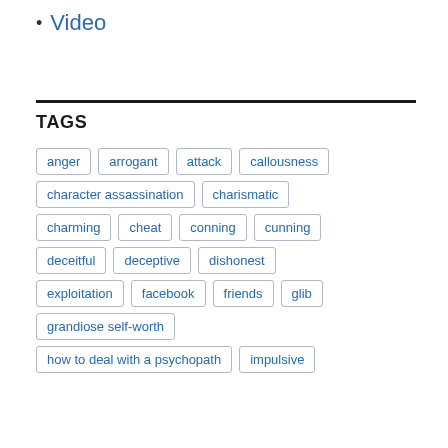Video
TAGS
anger
arrogant
attack
callousness
character assassination
charismatic
charming
cheat
conning
cunning
deceitful
deceptive
dishonest
exploitation
facebook
friends
glib
grandiose self-worth
how to deal with a psychopath
impulsive